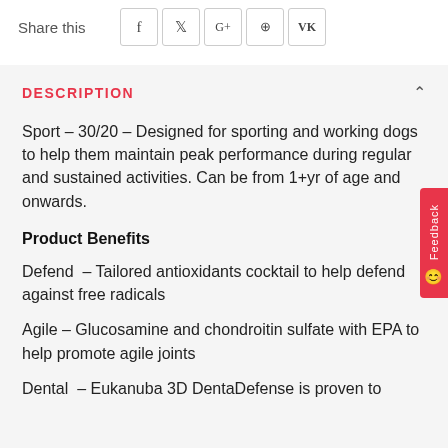Share this
DESCRIPTION
Sport – 30/20 – Designed for sporting and working dogs to help them maintain peak performance during regular and sustained activities. Can be from 1+yr of age and onwards.
Product Benefits
Defend – Tailored antioxidants cocktail to help defend against free radicals
Agile – Glucosamine and chondroitin sulfate with EPA to help promote agile joints
Dental – Eukanuba 3D DentaDefense is proven to